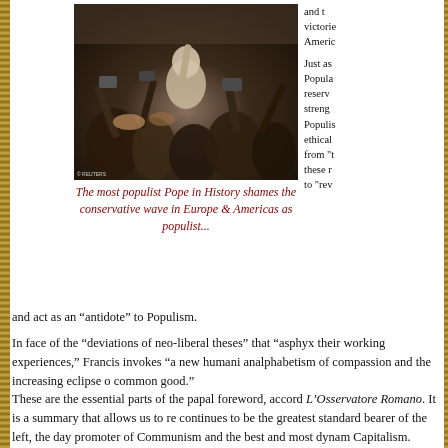[Figure (photo): Crowd scene with people raising hands and cameras, press/paparazzi style photo, © Reuters watermark]
The most populist Pope in History shames the conservative wave in Europe & Americas as populist...
and the victories America
Just as Populism reserves strength, Populism ethically from "these r to "rev
and act as an “antidote” to Populism.
In face of the “deviations of neo-liberal theses” that “asphyx their working experiences,” Francis invokes “a new humani analphabetism of compassion and the increasing eclipse o common good.”
These are the essential parts of the papal foreword, accor to L’Osservatore Romano. It is a summary that allows us to re continues to be the greatest standard bearer of the left, the day promoter of Communism and the best and most dynam Capitalism.